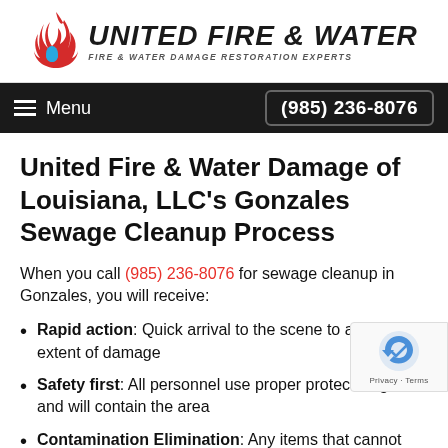[Figure (logo): United Fire & Water logo with flame and water drop icon, text 'UNITED FIRE & WATER' and subtitle 'FIRE & WATER DAMAGE RESTORATION EXPERTS']
Menu   (985) 236-8076
United Fire & Water Damage of Louisiana, LLC's Gonzales Sewage Cleanup Process
When you call (985) 236-8076 for sewage cleanup in Gonzales, you will receive:
Rapid action: Quick arrival to the scene to assess the extent of damage
Safety first: All personnel use proper protective gear, and will contain the area
Contamination Elimination: Any items that cannot